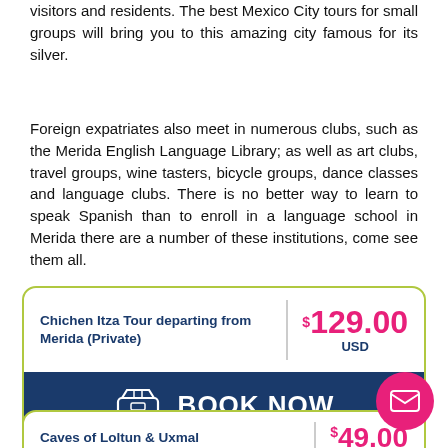visitors and residents. The best Mexico City tours for small groups will bring you to this amazing city famous for its silver.
Foreign expatriates also meet in numerous clubs, such as the Merida English Language Library; as well as art clubs, travel groups, wine tasters, bicycle groups, dance classes and language clubs. There is no better way to learn to speak Spanish than to enroll in a language school in Merida there are a number of these institutions, come see them all.
Chichen Itza Tour departing from Merida (Private)
$129.00 USD
BOOK NOW
Caves of Loltun & Uxmal